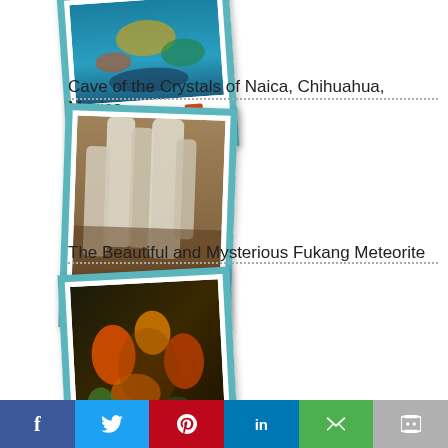[Figure (photo): Polaroid-style card partially visible at top, labeled 'The Magic of Color' with teal border]
Cave of the Crystals of Naica, Chihuahua, Mexico
[Figure (photo): Polaroid-style card showing cave crystals, labeled 'Cave of Crystals' with teal border]
The Beautiful and Mysterious Fukang Meteorite
[Figure (photo): Polaroid-style card showing glowing orange/green meteorite or mineral, partially visible, with teal border]
f  Twitter  Pinterest  in  Email  Print